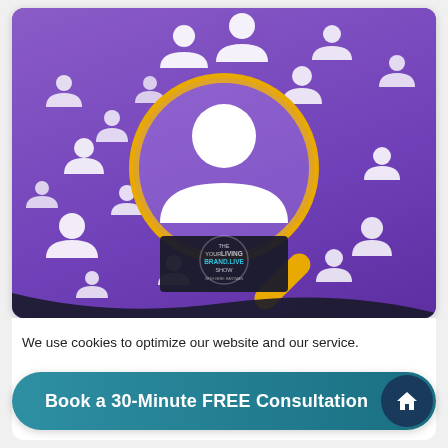[Figure (illustration): Purple background with multiple white person/user icons scattered around, a gold magnifying glass in the center focusing on one person icon, and a dark sign at the bottom with 'THE YOUR LIVING BRAND.LIVE SHOW' text. Dark curved shape at the very bottom.]
We use cookies to optimize our website and our service.
Book a 30-Minute FREE Consultation